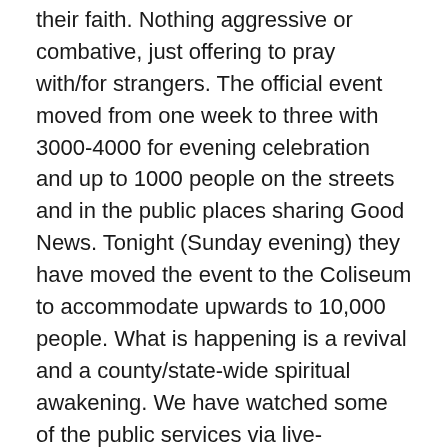their faith. Nothing aggressive or combative, just offering to pray with/for strangers. The official event moved from one week to three with 3000-4000 for evening celebration and up to 1000 people on the streets and in the public places sharing Good News. Tonight (Sunday evening) they have moved the event to the Coliseum to accommodate upwards to 10,000 people. What is happening is a revival and a county/state-wide spiritual awakening. We have watched some of the public services via live-streaming and listened to the exciting stories told by family, friends and the pastors. It has been a life-shaping event for portions of our family and faith connections.
When a pastor asked about our children the other evening, I explained where they lived and usual information. Because I thought he would be interested, I